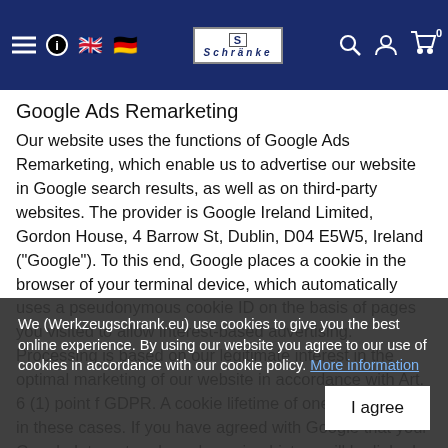Navigation bar with menu, info, UK flag, German flag, logo (Schubäden), search, account, cart icons
Google Ads Remarketing
Our website uses the functions of Google Ads Remarketing, which enable us to advertise our website in Google search results, as well as on third-party websites. The provider is Google Ireland Limited, Gordon House, 4 Barrow St, Dublin, D04 E5W5, Ireland ("Google"). To this end, Google places a cookie in the browser of your terminal device, which automatically uses a pseudonymous cookie ID on the basis of pages you visited to allow interest-based advertising. Processing is based on our legitimate interest in the optimal marketing of our website in accordance with Art. 6 (1) point f GDPR. A cookie lifetime of one year applies in these cases. If you have agreed with Google that your Google Internet and app browsing history will be linked to your Google Account and information from your Google Account will be used to personalise ads,
We (Werkzeugschrank.eu) use cookies to give you the best online experience. By using our website you agree to our use of cookies in accordance with our cookie policy. More information
I agree